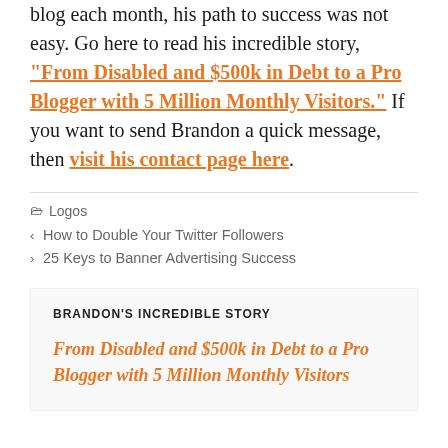blog each month, his path to success was not easy. Go here to read his incredible story, "From Disabled and $500k in Debt to a Pro Blogger with 5 Million Monthly Visitors." If you want to send Brandon a quick message, then visit his contact page here.
Logos
< How to Double Your Twitter Followers
> 25 Keys to Banner Advertising Success
BRANDON'S INCREDIBLE STORY
From Disabled and $500k in Debt to a Pro Blogger with 5 Million Monthly Visitors